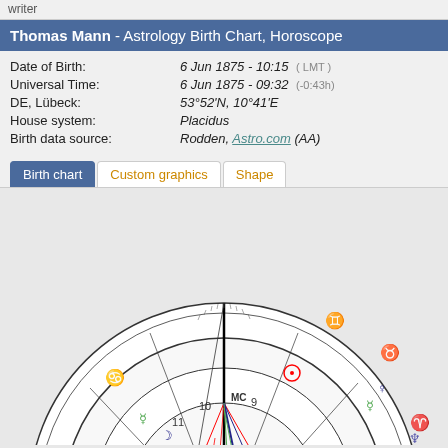writer
Thomas Mann - Astrology Birth Chart, Horoscope
Date of Birth: 6 Jun 1875 - 10:15 (LMT)
Universal Time: 6 Jun 1875 - 09:32 (-0:43h)
DE, Lübeck: 53°52'N, 10°41'E
House system: Placidus
Birth data source: Rodden, Astro.com (AA)
Birth chart | Custom graphics | Shape
[Figure (other): Astrology birth chart / horoscope wheel for Thomas Mann showing zodiac signs, planetary symbols, house numbers, and aspect lines in red, blue, and green inside a circular chart wheel]